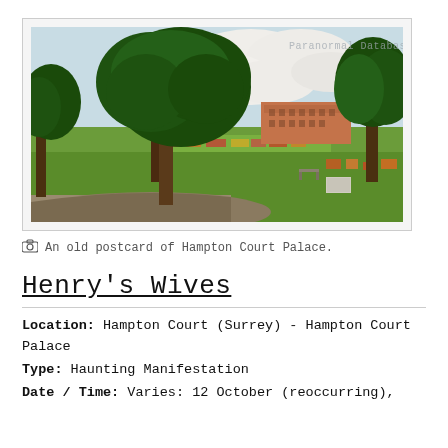[Figure (photo): An old colorized postcard photograph of Hampton Court Palace grounds showing large trees, manicured lawns, flower beds, a pathway, and the palace building visible in the background under a cloudy sky. Watermark text 'Paranormal Database' visible in upper right area.]
An old postcard of Hampton Court Palace.
Henry's Wives
Location: Hampton Court (Surrey) - Hampton Court Palace
Type: Haunting Manifestation
Date / Time: Varies: 12 October (reoccurring),